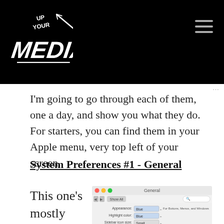[Figure (logo): Up Your Media logo in white on black background, with hamburger menu icon]
I'm going to go through each of them, one a day, and show you what they do. For starters, you can find them in your Apple menu, very top left of your screen.
System Preferences #1 - General
This one's mostly
[Figure (screenshot): Mac OS X System Preferences General pane screenshot showing Appearance: Blue, Highlight color: Blue, Sidebar icon size: Small]